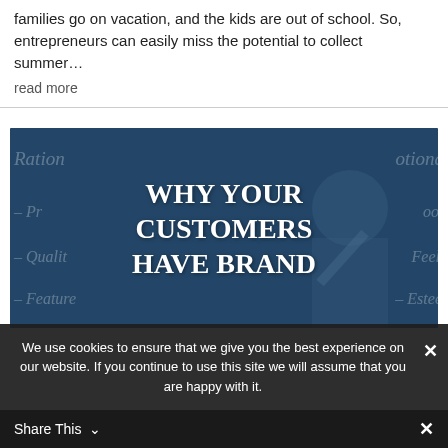families go on vacation, and the kids are out of school. So, entrepreneurs can easily miss the potential to collect summer…
read more
[Figure (photo): Dark blue background image with a person writing on a surface, overlaid with bold white serif text reading 'WHY YOUR CUSTOMERS HAVE BRAND' and faint italic text in the background including words like 'Rational', 'Pr...', 'Quality', 'Feature', 'Emotional', 'ook', 'Feel', 'Esteem'.]
We use cookies to ensure that we give you the best experience on our website. If you continue to use this site we will assume that you are happy with it.
Share This ∨